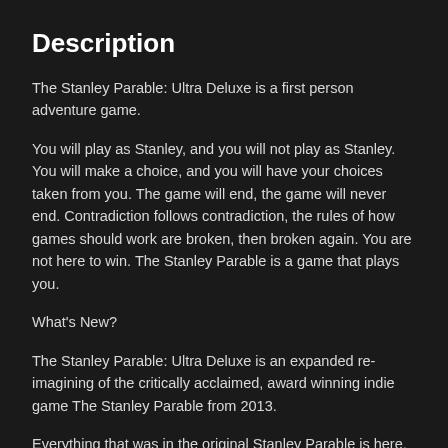Description
The Stanley Parable: Ultra Deluxe is a first person adventure game.
You will play as Stanley, and you will not play as Stanley. You will make a choice, and you will have your choices taken from you. The game will end, the game will never end. Contradiction follows contradiction, the rules of how games should work are broken, then broken again. You are not here to win. The Stanley Parable is a game that plays you.
What's New?
The Stanley Parable: Ultra Deluxe is an expanded re-imagining of the critically acclaimed, award winning indie game The Stanley Parable from 2013.
Everything that was in the original Stanley Parable is here, preserved just like it was back in 2013. But The Stanley Parable: Ultra Deluxe also dramatically expands the world of the original